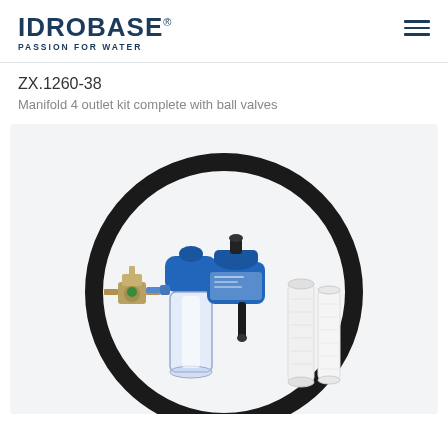IDROBASE® PASSION FOR WATER
ZX.1260-38
Manifold 4 outlet kit complete with ball valves
[Figure (photo): Product photo of ZX.1260-38 manifold 4 outlet kit complete with ball valves. Shows a water treatment assembly including a blue filter housing with transparent bowl, a pressure gauge, a pressure reducing valve (brass), a blue manifold/distribution unit, filter cartridges in white, and a black rubber ring/hose coil, all arranged within a circular display graphic.]